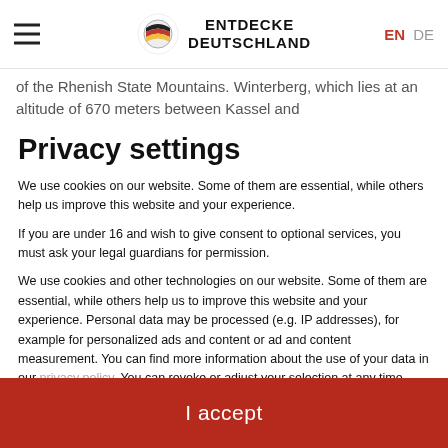ENTDECKE DEUTSCHLAND — EN DE
of the Rhenish State Mountains. Winterberg, which lies at an altitude of 670 meters between Kassel and
Privacy settings
We use cookies on our website. Some of them are essential, while others help us improve this website and your experience.
If you are under 16 and wish to give consent to optional services, you must ask your legal guardians for permission.
We use cookies and other technologies on our website. Some of them are essential, while others help us to improve this website and your experience. Personal data may be processed (e.g. IP addresses), for example for personalized ads and content or ad and content measurement. You can find more information about the use of your data in our privacy policy. You can revoke or adjust your selection at any time under Settings.
Essential
Statistics
External media
I accept